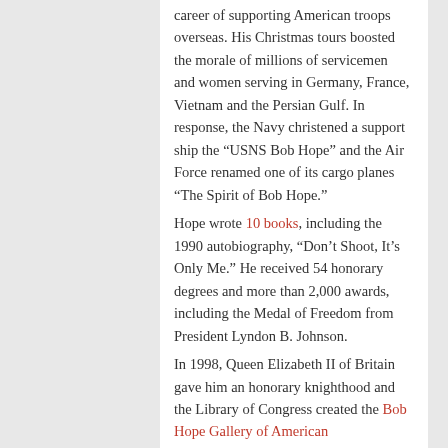career of supporting American troops overseas. His Christmas tours boosted the morale of millions of servicemen and women serving in Germany, France, Vietnam and the Persian Gulf. In response, the Navy christened a support ship the “USNS Bob Hope” and the Air Force renamed one of its cargo planes “The Spirit of Bob Hope.”
Hope wrote 10 books, including the 1990 autobiography, “Don’t Shoot, It’s Only Me.” He received 54 honorary degrees and more than 2,000 awards, including the Medal of Freedom from President Lyndon B. Johnson.
In 1998, Queen Elizabeth II of Britain gave him an honorary knighthood and the Library of Congress created the Bob Hope Gallery of American Entertainment. To celebrate his 100th birthday, the famous intersection of Hollywood Blvd. and Vine St. was renamed Bob Hope Square.
▪ Complete Coverage From The New York Times